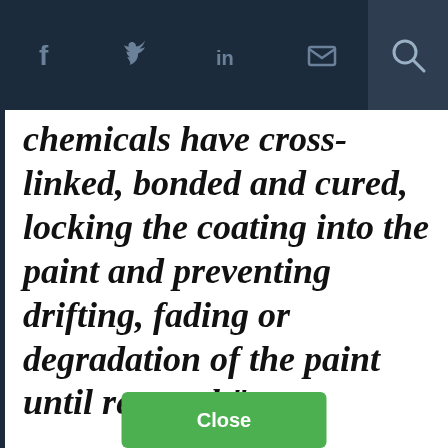Social share icons and search bar
chemicals have cross-linked, bonded and cured, locking the coating into the paint and preventing drifting, fading or degradation of the paint until renewal."
This website uses cookies to enhance user experience and to analyze performance and traffic on our website. By using this site, you agree to the use of cookies. You may change your cookie settings at any time, but the site may not function properly.  Cookie Policy
Close